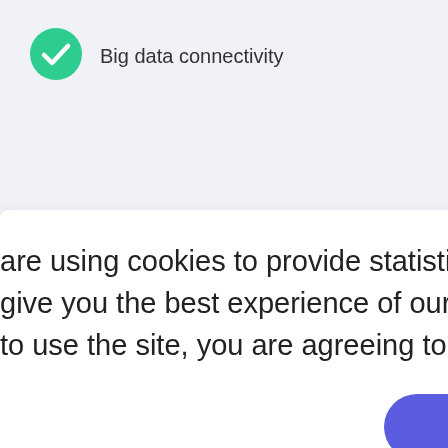Big data connectivity
are using cookies to provide statistics that help us give you the best experience of our site. By continuing to use the site, you are agreeing to our use of cookies.
That's Great!
payments in Nur Sultan city buses